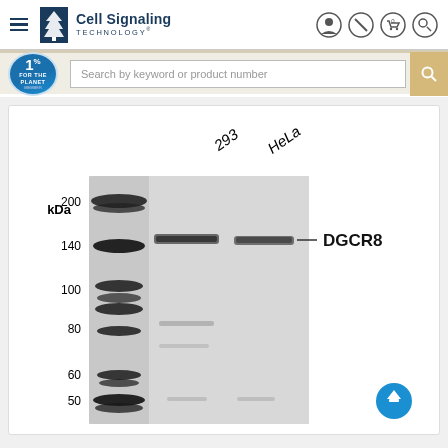Cell Signaling Technology
[Figure (photo): Western blot image showing DGCR8 protein bands in 293 and HeLa cell lines. Molecular weight markers shown on left: 200, 140, 100, 80, 60, 50 kDa. Strong band at ~130 kDa in both 293 and HeLa lanes labeled DGCR8. Additional faint bands at ~80 and ~50 kDa visible in 293 lane.]